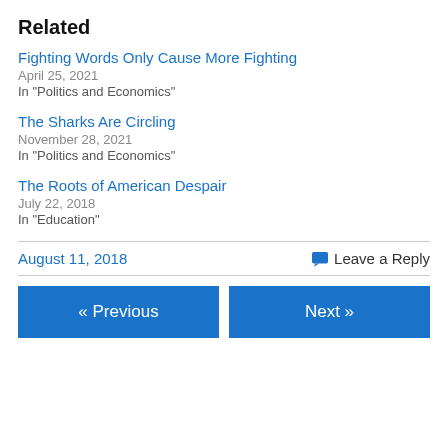Related
Fighting Words Only Cause More Fighting
April 25, 2021
In "Politics and Economics"
The Sharks Are Circling
November 28, 2021
In "Politics and Economics"
The Roots of American Despair
July 22, 2018
In "Education"
August 11, 2018
Leave a Reply
« Previous
Next »